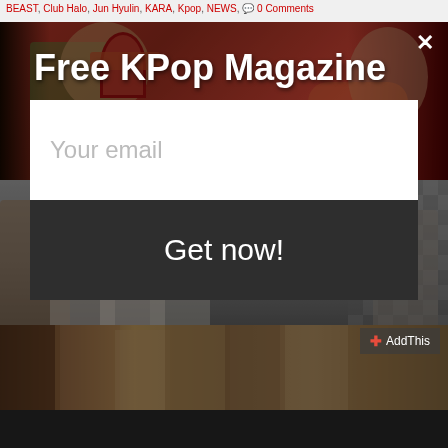BEAST, Club Halo, Jun Hyulin, KARA, Kpop, NEWS, 0 Comments
[Figure (screenshot): KPop magazine subscription modal popup overlay on a webpage. Background shows a collage of KPop artists. Top section shows female KPop group against red background. Middle section shows male group in white outfits against hexagonal pattern. Bottom section shows female group smiling. Modal contains headline 'Free KPop Magazine', email input field, and 'Get now!' button. Close X button in top right. AddThis button at bottom right.]
Free KPop Magazine
Your email
Get now!
+ AddThis